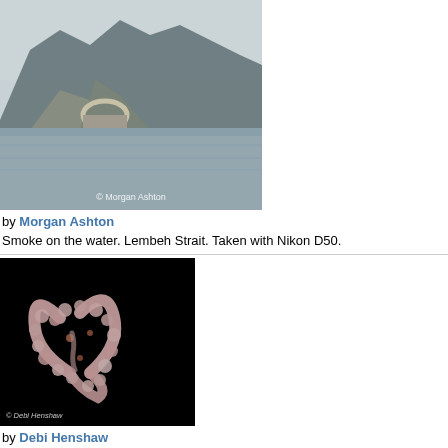[Figure (photo): Landscape photo of misty mountains and water, Lembeh Strait, with watermark '© Morgan Ashton']
by Morgan Ashton
Smoke on the water. Lembeh Strait. Taken with Nikon D50.
[Figure (photo): Macro underwater photo of a pygmy seahorse on coral forming a heart shape on black background, watermark '© Debi Henshaw']
by Debi Henshaw
"I Love You 2" Another angle of the heart encased pygmy :o)